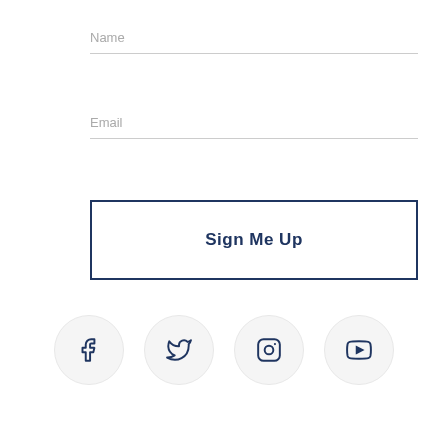Name
Email
Sign Me Up
[Figure (infographic): Four social media icons (Facebook, Twitter, Instagram, YouTube) in circular light grey buttons arranged in a horizontal row.]